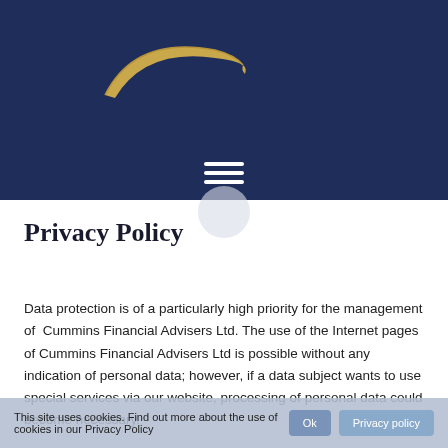[Figure (logo): Cummins Financial Advisers logo — a golden curved horn/arc shape on dark navy blue background]
Privacy Policy
Data protection is of a particularly high priority for the management of Cummins Financial Advisers Ltd. The use of the Internet pages of Cummins Financial Advisers Ltd is possible without any indication of personal data; however, if a data subject wants to use special services via our website, processing of personal data could become necessary.
This site uses cookies. Find out more about the use of cookies in our Privacy Policy   Ok   Privacy policy